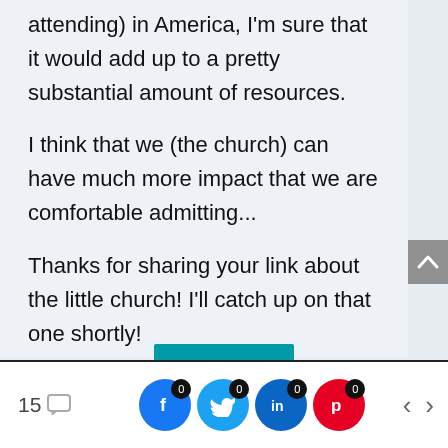attending) in America, I'm sure that it would add up to a pretty substantial amount of resources.
I think that we (the church) can have much more impact that we are comfortable admitting...
Thanks for sharing your link about the little church! I'll catch up on that one shortly!
15 [comment icon] | f 0 | t 0 | in 0 | p 0 | < | >